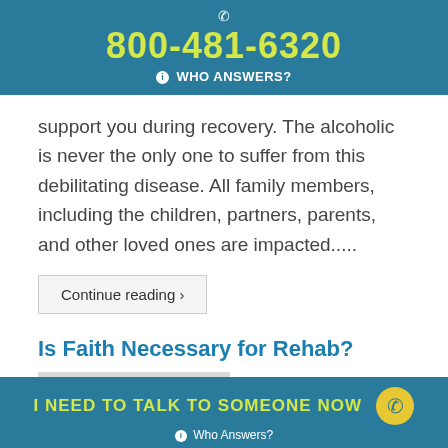800-481-6320 WHO ANSWERS?
support you during recovery. The alcoholic is never the only one to suffer from this debilitating disease. All family members, including the children, partners, parents, and other loved ones are impacted.....
Continue reading ›
Is Faith Necessary for Rehab?
[Figure (photo): Black and white photo of zen/meditation stones stacked]
I NEED TO TALK TO SOMEONE NOW  Who Answers?